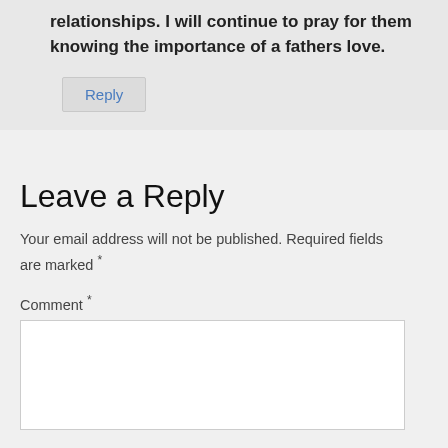relationships. I will continue to pray for them knowing the importance of a fathers love.
Reply
Leave a Reply
Your email address will not be published. Required fields are marked *
Comment *